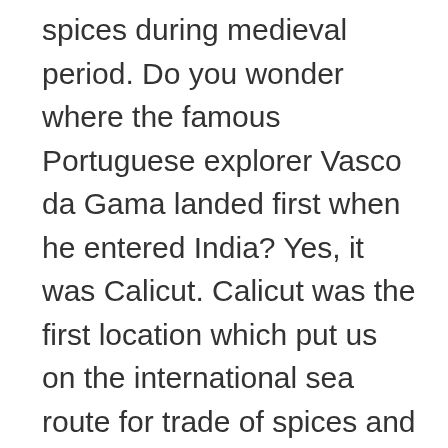spices during medieval period. Do you wonder where the famous Portuguese explorer Vasco da Gama landed first when he entered India? Yes, it was Calicut. Calicut was the first location which put us on the international sea route for trade of spices and other goods.

The city now attracts tourists from all over the world and its sandy beaches